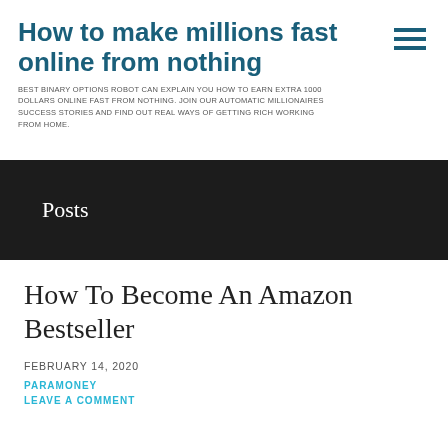How to make millions fast online from nothing
BEST BINARY OPTIONS ROBOT CAN EXPLAIN YOU HOW TO EARN EXTRA 1000 DOLLARS ONLINE FAST FROM NOTHING. JOIN OUR AUTOMATIC MILLIONAIRES SUCCESS STORIES AND FIND OUT REAL WAYS OF GETTING RICH WORKING FROM HOME.
Posts
How To Become An Amazon Bestseller
FEBRUARY 14, 2020
PARAMONEY
LEAVE A COMMENT